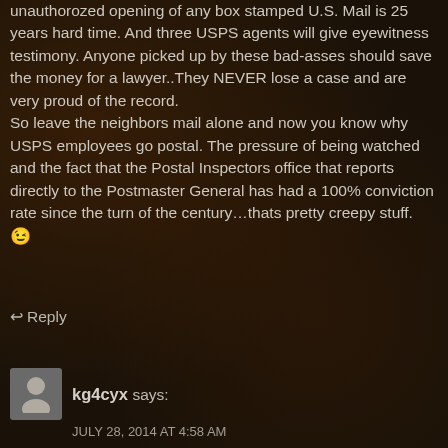unauthorozed opening of any box stamped U.S. Mail is 25 years hard time. And three USPS agents will give eyewitness testimony. Anyone picked up by these bad-asses should save the money for a lawyer..They NEVER lose a case and are very proud of the record.
So leave the neighbors mail alone and now you know why USPS employees go postal. The pressure of being watched and the fact that the Postal Inspectors office that reports directly to the Postmaster General has had a 100% conviction rate since the turn of the century…thats pretty creepy stuff. 😉
↩ Reply
kg4cyx says:
JULY 28, 2014 AT 4:58 AM
Yes… I had to get them to come down and check out a sorting station in Opa-Locka, FL once that was pretty much black hole-ing many packages sent with any item of value. It was BAD around 2009 until they caught the three or four workers doing it.